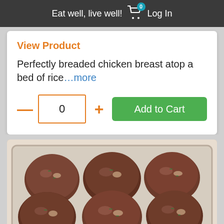Eat well, live well! Log In
View Product
Perfectly breaded chicken breast atop a bed of rice…more
[Figure (screenshot): Quantity selector with minus button, quantity box showing 0, plus button, and green Add to Cart button]
[Figure (photo): Six uncooked meatballs with visible herbs and onion pieces arranged in a glass rectangular container on a light marble surface]